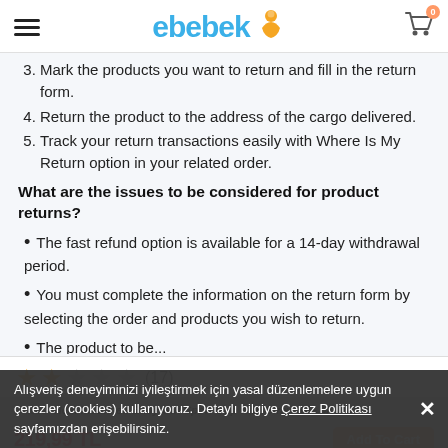ebebek
3. Mark the products you want to return and fill in the return form.
4. Return the product to the address of the cargo delivered.
5. Track your return transactions easily with Where Is My Return option in your related order.
What are the issues to be considered for product returns?
The fast refund option is available for a 14-day withdrawal period.
You must complete the information on the return form by selecting the order and products you wish to return.
The product to be...
★★☆☆★ (17)
Chicco Heat Insulated Baby Girl Sport Cup with Straw 14+ Months
219,99 TL
Alışveriş deneyiminizi iyileştirmek için yasal düzenlemelere uygun çerezler (cookies) kullanıyoruz. Detaylı bilgiye Çerez Politikası sayfamızdan erişebilirsiniz.